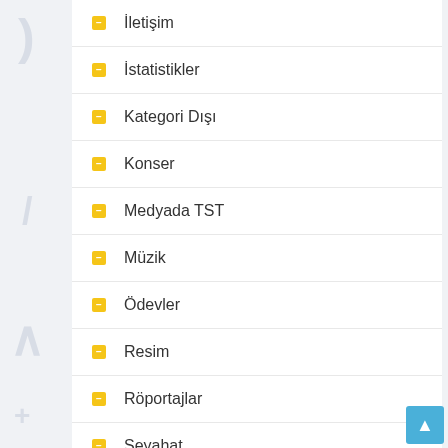İletişim
İstatistikler
Kategori Dışı
Konser
Medyada TST
Müzik
Ödevler
Resim
Röportajlar
Seyahat
Şiir ve Öyküler